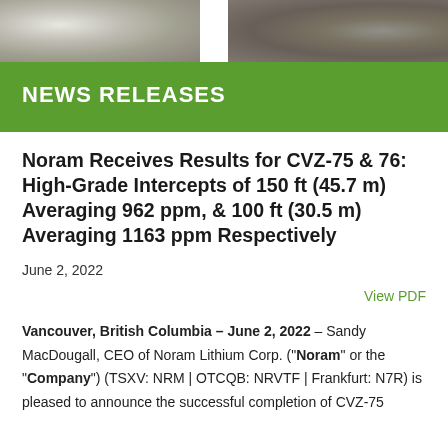[Figure (photo): Banner photo showing mineral/rock samples — white/grey material on the left and darker granular material on the right]
NEWS RELEASES
Noram Receives Results for CVZ-75 & 76: High-Grade Intercepts of 150 ft (45.7 m) Averaging 962 ppm, & 100 ft (30.5 m) Averaging 1163 ppm Respectively
June 2, 2022
View PDF
Vancouver, British Columbia – June 2, 2022 – Sandy MacDougall, CEO of Noram Lithium Corp. ("Noram" or the "Company") (TSXV: NRM | OTCQB: NRVTF | Frankfurt: N7R) is pleased to announce the successful completion of CVZ-75